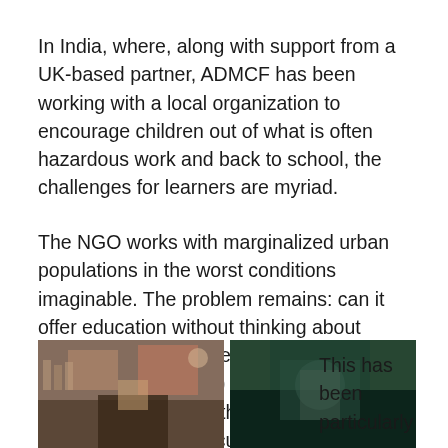In India, where, along with support from a UK-based partner, ADMCF has been working with a local organization to encourage children out of what is often hazardous work and back to school, the challenges for learners are myriad.
The NGO works with marginalized urban populations in the worst conditions imaginable. The problem remains: can it offer education without thinking about nutrition, healthcare, encouraging family support (not financial) and expect permanent results in the children's lives? Can we expect, particularly in the most challenging communities that access to education alone will lead to a better future?
[Figure (photo): Two photographs side by side showing children in a classroom or educational setting in India. Left photo shows children with a clock on the wall and colorful decorations. Right photo shows a child near a green background or chalkboard.]
This has been particularly